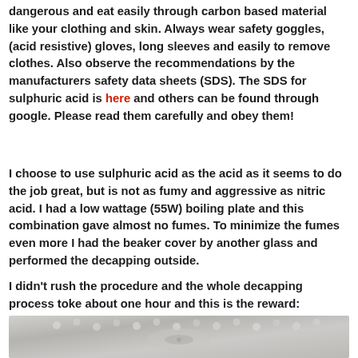dangerous and eat easily through carbon based material like your clothing and skin. Always wear safety goggles, (acid resistive) gloves, long sleeves and easily to remove clothes. Also observe the recommendations by the manufacturers safety data sheets (SDS). The SDS for sulphuric acid is here and others can be found through google. Please read them carefully and obey them!
I choose to use sulphuric acid as the acid as it seems to do the job great, but is not as fumy and aggressive as nitric acid. I had a low wattage (55W) boiling plate and this combination gave almost no fumes. To minimize the fumes even more I had the beaker cover by another glass and performed the decapping outside.
I didn't rush the procedure and the whole decapping process toke about one hour and this is the reward:
[Figure (photo): Partial photo of what appears to be a decapped electronic component or chip, showing metallic/silicon surface with small bumps or pads visible.]